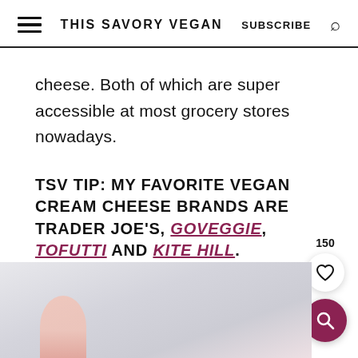THIS SAVORY VEGAN  SUBSCRIBE
cheese. Both of which are super accessible at most grocery stores nowadays.
TSV TIP: MY FAVORITE VEGAN CREAM CHEESE BRANDS ARE TRADER JOE'S, GOVEGGIE, TOFUTTI AND KITE HILL.
[Figure (photo): Partially visible blurred food photo at bottom of page]